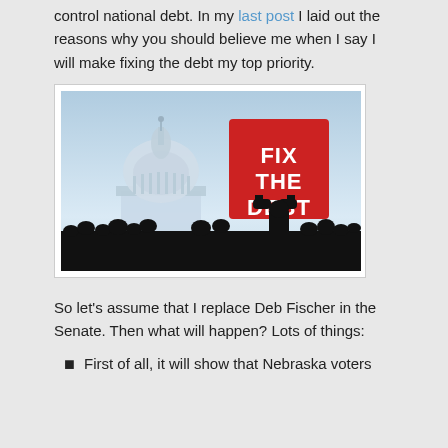control national debt.  In my last post I laid out the reasons why you should believe me when I say I will make fixing the debt my top priority.
[Figure (photo): Photo of the US Capitol building with silhouetted crowd in foreground. A person in the crowd holds up a large red sign reading 'FIX THE DEBT' in bold white text.]
So let's assume that I replace Deb Fischer in the Senate.  Then what will happen?  Lots of things:
First of all, it will show that Nebraska voters